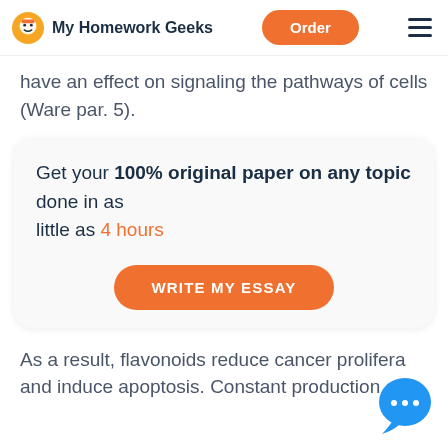My Homework Geeks | Order
have an effect on signaling the pathways of cells (Ware par. 5).
[Figure (infographic): Promotional card: Get your 100% original paper on any topic done in as little as 4 hours. WRITE MY ESSAY button.]
As a result, flavonoids reduce cancer prolifera and induce apoptosis. Constant production of